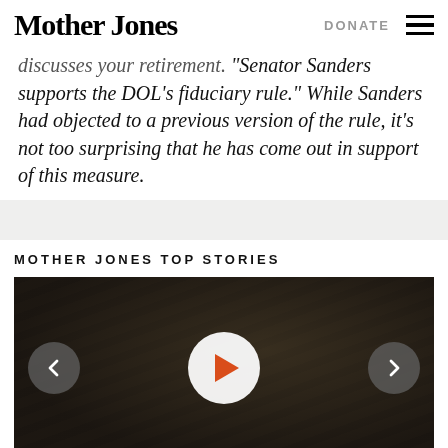Mother Jones | DONATE ☰
...discusses your retirement. Senator Sanders supports the DOL's fiduciary rule." While Sanders had objected to a previous version of the rule, it's not too surprising that he has come out in support of this measure.
MOTHER JONES TOP STORIES
[Figure (photo): Dark wood grain texture background with a video player overlay showing a play button in the center and left/right navigation arrows on the sides.]